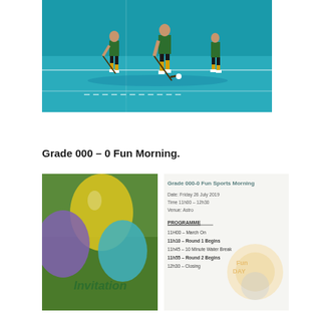[Figure (photo): Field hockey players on a blue astroturf field, wearing green shirts and yellow socks, with a hockey stick and ball visible]
Grade 000 – 0 Fun Morning.
[Figure (photo): Invitation card with colorful balloons (yellow, purple, teal) on a green grass background, with the word 'Invitation' in green text]
[Figure (infographic): Grade 000-0 Fun Sports Morning invitation details: Date Friday 26 July 2019, Time 11h00 - 12h30, Venue Astro. Programme: 11H00 March On, 11h10 Round 1 Begins, 11h45 10 Minute Water Break, 11h55 Round 2 Begins, 12h30 Closing. Background has watermark-style Fun Day logo.]